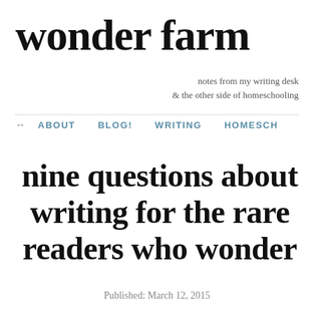wonder farm
notes from my writing desk & the other side of homeschooling
→   ABOUT   BLOG!   WRITING   HOMESCH
nine questions about writing for the rare readers who wonder
Published: March 12, 2015